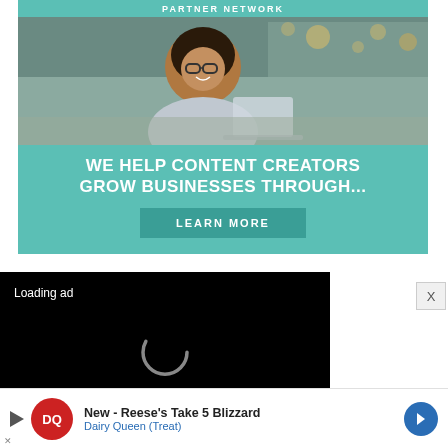[Figure (infographic): Partner Network ad banner with teal background, photo of a smiling woman with glasses and laptop, text 'WE HELP CONTENT CREATORS GROW BUSINESSES THROUGH...' and a 'LEARN MORE' button]
[Figure (screenshot): Video player showing 'Loading ad' with a spinning loading circle and playback controls (pause, expand, mute) on a black background]
[Figure (infographic): Dairy Queen advertisement: 'New - Reese's Take 5 Blizzard' with Dairy Queen (Treat) branding, DQ logo, and blue arrow icon]